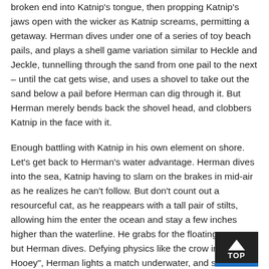broken end into Katnip's tongue, then propping Katnip's jaws open with the wicker as Katnip screams, permitting a getaway. Herman dives under one of a series of toy beach pails, and plays a shell game variation similar to Heckle and Jeckle, tunnelling through the sand from one pail to the next – until the cat gets wise, and uses a shovel to take out the sand below a pail before Herman can dig through it. But Herman merely bends back the shovel head, and clobbers Katnip in the face with it.
Enough battling with Katnip in his own element on shore. Let's get back to Herman's water advantage. Herman dives into the sea, Katnip having to slam on the brakes in mid-air as he realizes he can't follow. But don't count out a resourceful cat, as he reappears with a tall pair of stilts, allowing him the enter the ocean and stay a few inches higher than the waterline. He grabs for the floating mouse, but Herman dives. Defying physics like the crow in "Aloha Hooey", Herman lights a match underwater, and sets fire to the wooden stilts. Katnip is thrown into the ocean water, and flails about helplessly, claiming he can't swim. Merciful Herman tosses hi, a life preserver with a rope attached. Well, actually, Herman has no mercy, as he drops a bould into the sea, tied to the other end of the rope, which takes